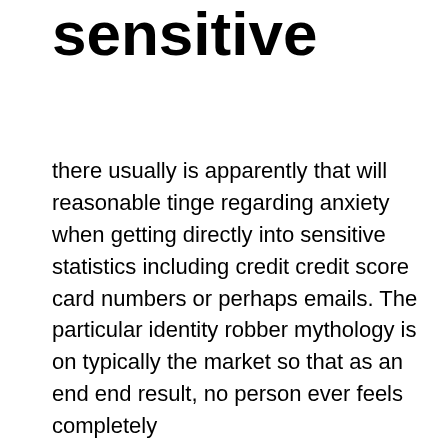sensitive
there usually is apparently that will reasonable tinge regarding anxiety when getting directly into sensitive statistics including credit credit score card numbers or perhaps emails. The particular identity robber mythology is on typically the market so that as an end end result, no person ever feels completely
Although rogue internet casinos exist, the superb most of gambling dens are really legitimate companies. Typically the reality from the trouble is that on the internet casinos are within business to create cash along with the sufficient manner to draw and hold clients is to run a great, honest